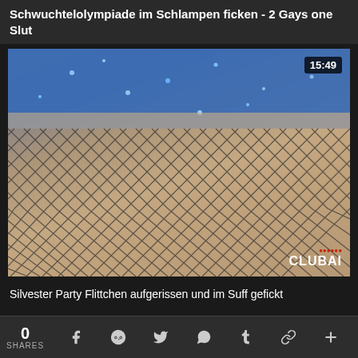Schwuchtelolympiade im Schlampen ficken - 2 Gays one Slut
[Figure (screenshot): Video thumbnail showing close-up with fishnet stockings and blue glitter clothing, timestamp 15:49, CLUBAI watermark]
Silvester Party Flittchen aufgerissen und im Suff gefickt
0 SHARES  f  reddit  twitter  whatsapp  tumblr  chain  +